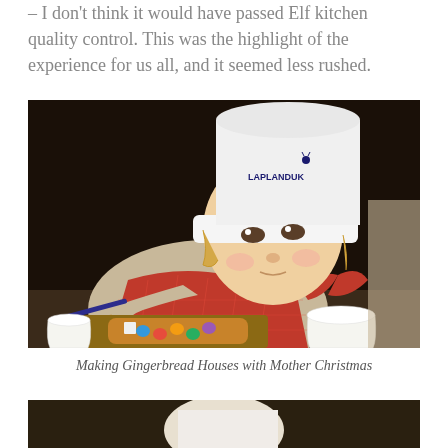– I don't think it would have passed Elf kitchen quality control. This was the highlight of the experience for us all, and it seemed less rushed.
[Figure (photo): A young child wearing a white chef hat with 'Lapland UK' logo and a red checked apron, carefully decorating a gingerbread cookie on a wooden board using a paintbrush, with colorful candy decorations and white paper cups on the table.]
Making Gingerbread Houses with Mother Christmas
[Figure (photo): Partial view of another photo at the bottom of the page, appears to show a person in white, cropped.]